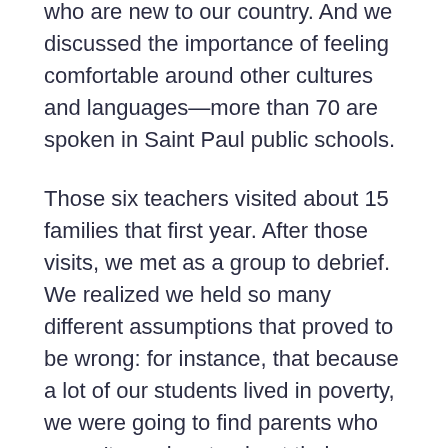who are new to our country. And we discussed the importance of feeling comfortable around other cultures and languages—more than 70 are spoken in Saint Paul public schools.
Those six teachers visited about 15 families that first year. After those visits, we met as a group to debrief. We realized we held so many different assumptions that proved to be wrong: for instance, that because a lot of our students lived in poverty, we were going to find parents who weren't passionate about their children's education and success, and houses that were falling apart and in disarray.
What we found instead was that parents really